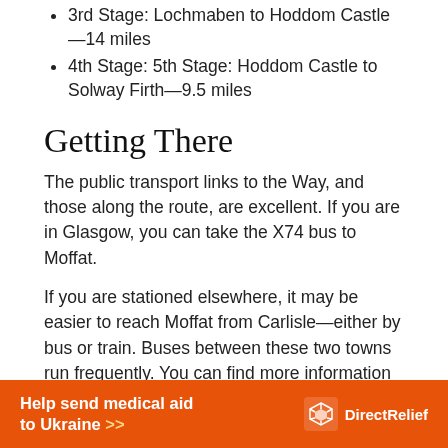3rd Stage: Lochmaben to Hoddom Castle—14 miles
4th Stage: 5th Stage: Hoddom Castle to Solway Firth—9.5 miles
Getting There
The public transport links to the Way, and those along the route, are excellent. If you are in Glasgow, you can take the X74 bus to Moffat.
If you are stationed elsewhere, it may be easier to reach Moffat from Carlisle—either by bus or train. Buses between these two towns run frequently. You can find more information on the Stagecoach website.
[Figure (infographic): Orange banner advertisement: 'Help send medical aid to Ukraine >>' with Direct Relief logo on the right.]